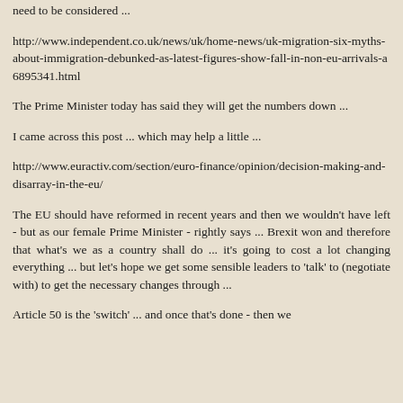need to be considered ...
http://www.independent.co.uk/news/uk/home-news/uk-migration-six-myths-about-immigration-debunked-as-latest-figures-show-fall-in-non-eu-arrivals-a6895341.html
The Prime Minister today has said they will get the numbers down ...
I came across this post ... which may help a little ...
http://www.euractiv.com/section/euro-finance/opinion/decision-making-and-disarray-in-the-eu/
The EU should have reformed in recent years and then we wouldn't have left - but as our female Prime Minister - rightly says ... Brexit won and therefore that what's we as a country shall do ... it's going to cost a lot changing everything ... but let's hope we get some sensible leaders to 'talk' to (negotiate with) to get the necessary changes through ...
Article 50 is the 'switch' ... and once that's done - then we